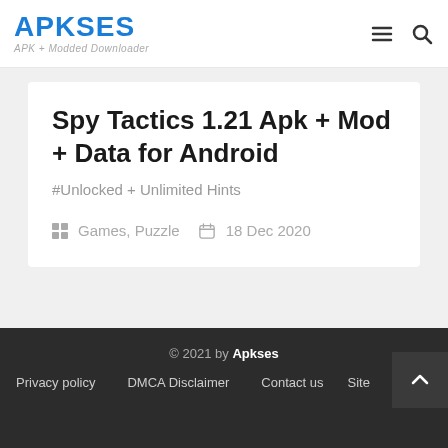APKSES - APK + Modded Downloader
Spy Tactics 1.21 Apk + Mod + Data for Android
#Unlocked + Unlimited Hints
Games, Puzzle   18 Dec 2020
© 2021 by Apkses | Privacy policy | DMCA Disclaimer | Contact us | Sitemap